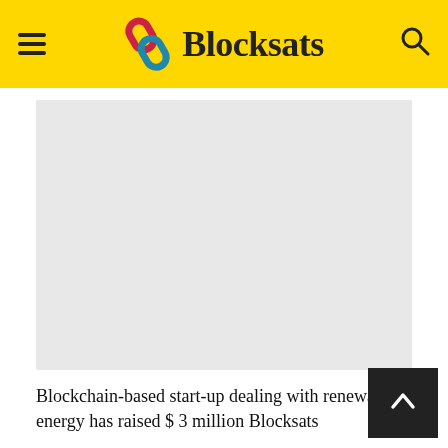Blocksats
[Figure (other): Gray placeholder image block]
Blockchain-based start-up dealing with renewable energy has raised $ 3 million Blocksats
[Figure (other): Gray placeholder image block]